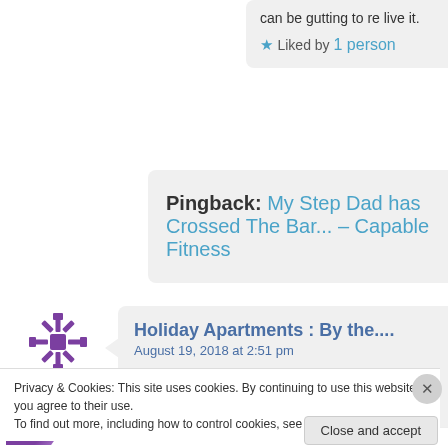can be gutting to re live it.
★ Liked by 1 person
Pingback: My Step Dad has Crossed The Bar... – Capable Fitness
Holiday Apartments : By the....
August 19, 2018 at 2:51 pm
Incredibly powerful post, I am so glad
Privacy & Cookies: This site uses cookies. By continuing to use this website, you agree to their use. To find out more, including how to control cookies, see here: Cookie Policy
Close and accept